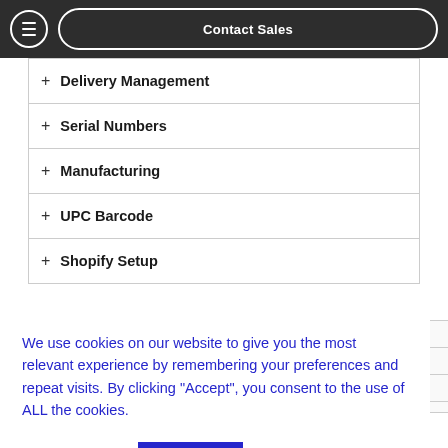Contact Sales
+ Delivery Management
+ Serial Numbers
+ Manufacturing
+ UPC Barcode
+ Shopify Setup
We use cookies on our website to give you the most relevant experience by remembering your preferences and repeat visits. By clicking “Accept”, you consent to the use of ALL the cookies.
Cookie settings  ACCEPT
+ Lot Numbers (Batch)